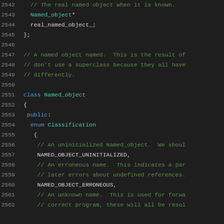[Figure (screenshot): Source code listing lines 2542-2562 of a C++ file showing a class definition. Dark background IDE theme with syntax highlighting. Shows Named_object class with public enum Classification containing NAMED_OBJECT_UNINITIALIZED and NAMED_OBJECT_ERRONEOUS values with comments.]